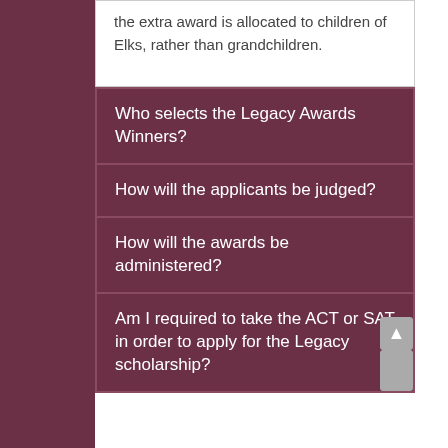the extra award is allocated to children of Elks, rather than grandchildren.
Who selects the Legacy Awards Winners?
How will the applicants be judged?
How will the awards be administered?
Am I required to take the ACT or SAT in order to apply for the Legacy scholarship?